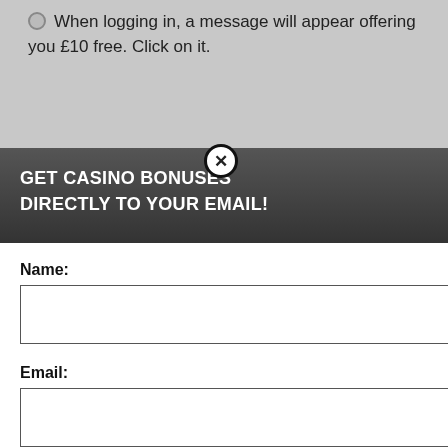When logging in, a message will appear offering you £10 free. Click on it.
claim your no deposit bonus.
mes with the chance to win
st October 2021 and only
Max. withdrawal £100. 50x wagering, game ay expiry. Full terms apply.
berience, we use Using this site, kie & privacy policy.
[Figure (screenshot): Email subscription modal popup with dark header reading GET CASINO BONUSES DIRECTLY TO YOUR EMAIL!, name and email input fields, Submit button, and privacy policy disclaimer text]
By subscribing you are certifying that you have reviewed and accepted our updated Privacy and Cookie policy.